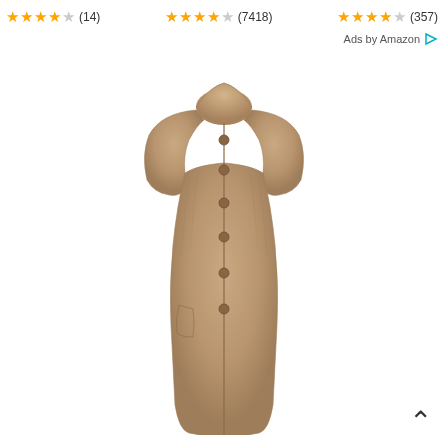★★★★☆ (14)   ★★★★☆ (7418)   ★★★★☆ (357)
Ads by Amazon ▷
[Figure (photo): A long sleeveless knit vest/gilet in a beige/tan color with a stand-up collar and button-front closure, displayed on an invisible mannequin against a white background.]
^ (scroll to top arrow)